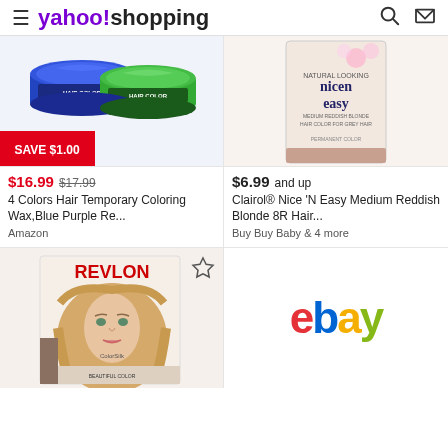yahoo!shopping
[Figure (photo): Two hair color wax containers (blue and green), with SAVE $1.00 badge]
[Figure (photo): Clairol Nice 'N Easy hair coloring box, Medium Reddish Blonde 8R]
$16.99  $17.99
$6.99 and up
4 Colors Hair Temporary Coloring Wax,Blue Purple Re...
Clairol® Nice 'N Easy Medium Reddish Blonde 8R Hair...
Amazon
Buy Buy Baby & 4 more
[Figure (photo): Revlon ColorSilk hair color box with woman model with blonde hair]
[Figure (logo): eBay logo in multicolor (red, blue, yellow, green)]